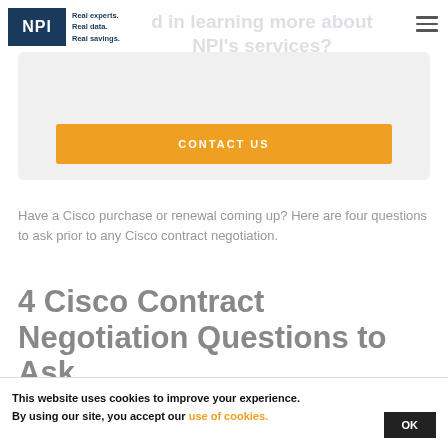NPI — Real experts. Real data. Real savings.
Interested in learning more about NPI's services?
[Figure (other): Orange 'CONTACT US' button inside a light grey card/CTA box]
Have a Cisco purchase or renewal coming up? Here are four questions to ask prior to any Cisco contract negotiation.
4 Cisco Contract Negotiation Questions to Ask
This website uses cookies to improve your experience. By using our site, you accept our use of cookies.